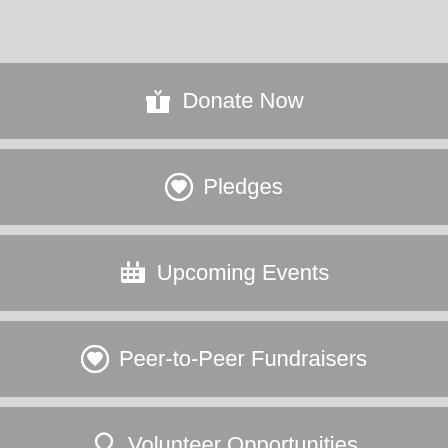Donate Now
Pledges
Upcoming Events
Peer-to-Peer Fundraisers
Volunteer Opportunities
Tell A Friend
Register Email